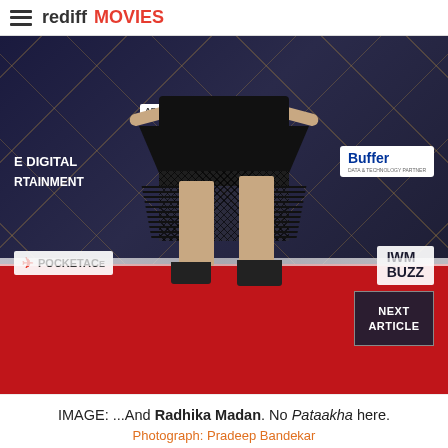rediff MOVIES
[Figure (photo): A woman in a black feathered and mesh dress with studded heels posing on a red carpet in front of a dark sponsor backdrop featuring brands like POCKETACE, IWM BUZZ, Buffer, and APAR ADVERTISERS. Only the lower body is visible.]
IMAGE: ...And Radhika Madan. No Pataakha here. Photograph: Pradeep Bandekar